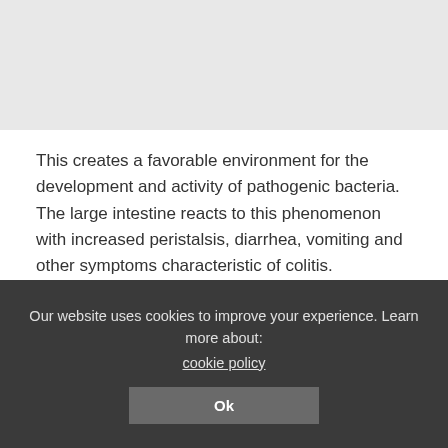[Figure (other): Gray background placeholder area at the top of the page]
This creates a favorable environment for the development and activity of pathogenic bacteria. The large intestine reacts to this phenomenon with increased peristalsis, diarrhea, vomiting and other symptoms characteristic of colitis.
Other factors that provoke the development of the disease include:
Our website uses cookies to improve your experience. Learn more about: cookie policy Ok